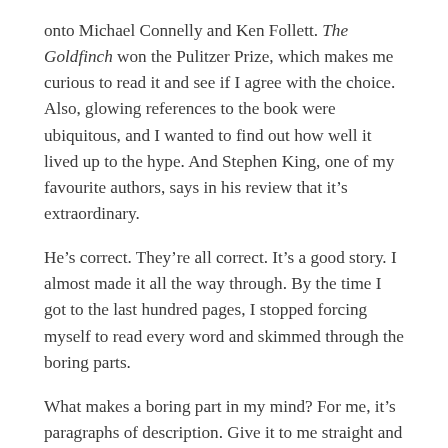onto Michael Connelly and Ken Follett. The Goldfinch won the Pulitzer Prize, which makes me curious to read it and see if I agree with the choice. Also, glowing references to the book were ubiquitous, and I wanted to find out how well it lived up to the hype. And Stephen King, one of my favourite authors, says in his review that it's extraordinary.
He's correct. They're all correct. It's a good story. I almost made it all the way through. By the time I got to the last hundred pages, I stopped forcing myself to read every word and skimmed through the boring parts.
What makes a boring part in my mind? For me, it's paragraphs of description. Give it to me straight and brief, and my imagination will do the rest. If it were up to me, that book would be about three hundred pages shorter and not lose anything of the plot.